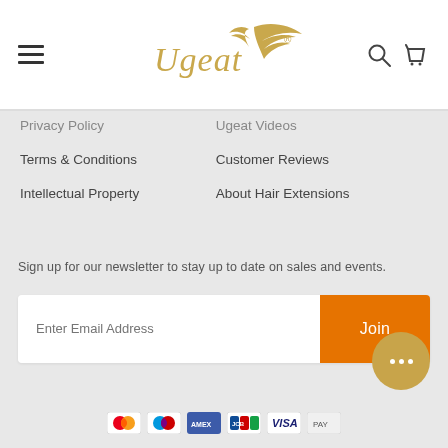Ugeat - Navigation header with hamburger menu, logo, search and cart icons
Privacy Policy
Ugeat Videos
Terms & Conditions
Customer Reviews
Intellectual Property
About Hair Extensions
Sign up for our newsletter to stay up to date on sales and events.
Enter Email Address
Join
[Figure (other): Payment method icons row at the bottom of the page (Mastercard, Maestro, Amex/Barclays, JCB, Visa, and others)]